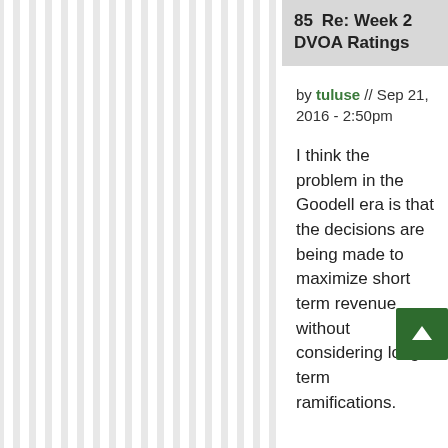85  Re: Week 2 DVOA Ratings
by tuluse // Sep 21, 2016 - 2:50pm
I think the problem in the Goodell era is that the decisions are being made to maximize short term revenue without considering long term ramifications.